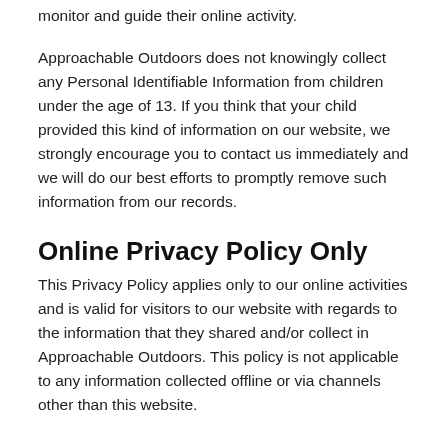monitor and guide their online activity.
Approachable Outdoors does not knowingly collect any Personal Identifiable Information from children under the age of 13. If you think that your child provided this kind of information on our website, we strongly encourage you to contact us immediately and we will do our best efforts to promptly remove such information from our records.
Online Privacy Policy Only
This Privacy Policy applies only to our online activities and is valid for visitors to our website with regards to the information that they shared and/or collect in Approachable Outdoors. This policy is not applicable to any information collected offline or via channels other than this website.